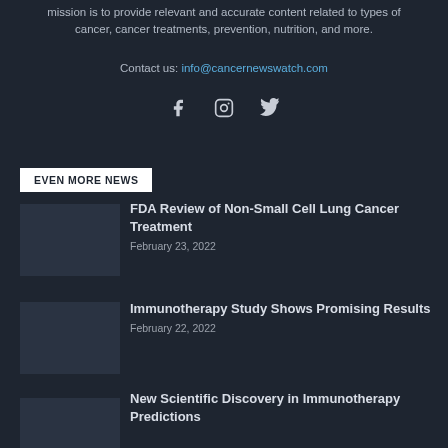mission is to provide relevant and accurate content related to types of cancer, cancer treatments, prevention, nutrition, and more.
Contact us: info@cancernewswatch.com
[Figure (other): Social media icons: Facebook, Instagram, Twitter]
EVEN MORE NEWS
FDA Review of Non-Small Cell Lung Cancer Treatment
February 23, 2022
Immunotherapy Study Shows Promising Results
February 22, 2022
New Scientific Discovery in Immunotherapy Predictions